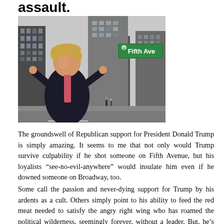assault.
[Figure (photo): Photo of Donald Trump superimposed in front of a Fifth Avenue street sign in New York City, with tall buildings in the background. Trump is wearing a dark suit and pink tie, pointing with both index fingers.]
The groundswell of Republican support for President Donald Trump is simply amazing. It seems to me that not only would Trump survive culpability if he shot someone on Fifth Avenue, but his loyalists “see-no-evil-anywhere” would insulate him even if he downed someone on Broadway, too.
Some call the passion and never-dying support for Trump by his ardents as a cult. Others simply point to his ability to feed the red meat needed to satisfy the angry right wing who has roamed the political wilderness, seemingly forever, without a leader. But, he’s now here and Trump is to be protected at all costs. In fact, religious activist Ralph Reed claims that evangelicals have a moral duty to support Donald Trump. Yep. A Moral duty.